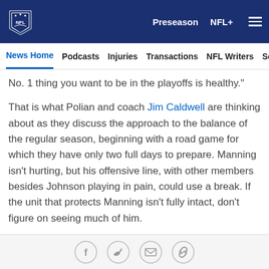NFL navigation bar with logo, Preseason, NFL+, and menu
News Home | Podcasts | Injuries | Transactions | NFL Writers | Se
No. 1 thing you want to be in the playoffs is healthy."
That is what Polian and coach Jim Caldwell are thinking about as they discuss the approach to the balance of the regular season, beginning with a road game for which they have only two full days to prepare. Manning isn't hurting, but his offensive line, with other members besides Johnson playing in pain, could use a break. If the unit that protects Manning isn't fully intact, don't figure on seeing much of him.
He and the rest of the healthy starters will practice for
Social share icons: Facebook, Twitter, Email, Link